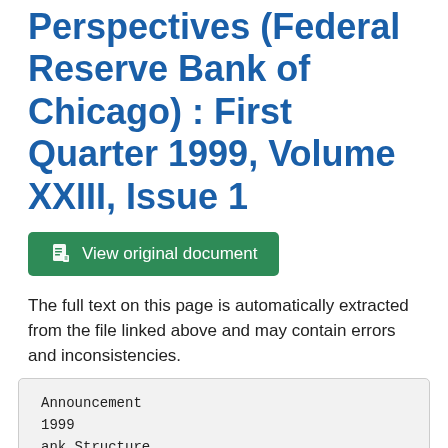Perspectives (Federal Reserve Bank of Chicago) : First Quarter 1999, Volume XXIII, Issue 1
[Figure (other): Green button labeled 'View original document' with a document icon]
The full text on this page is automatically extracted from the file linked above and may contain errors and inconsistencies.
Announcement
1999
ank Structure
& Competition
Conference

Federal Reserve Bank
of Chi...